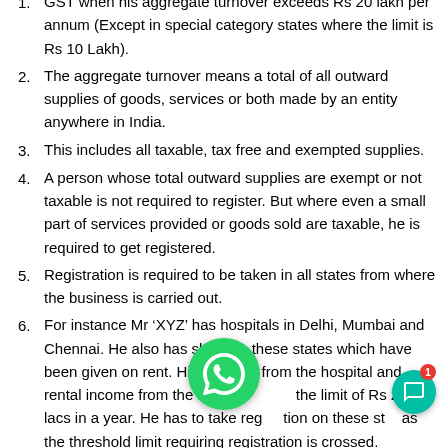GST when his aggregate turnover exceeds Rs 20 lakh per annum (Except in special category states where the limit is Rs 10 Lakh).
The aggregate turnover means a total of all outward supplies of goods, services or both made by an entity anywhere in India.
This includes all taxable, tax free and exempted supplies.
A person whose total outward supplies are exempt or not taxable is not required to register. But where even a small part of services provided or goods sold are taxable, he is required to get registered.
Registration is required to be taken in all states from where the business is carried out.
For instance Mr ‘XYZ’ has hospitals in Delhi, Mumbai and Chennai. He also has shops in these states which have been given on rent. His turnover from the hospital and rental income from the shops the limit of Rs 20 lacs in a year. He has to take registration on these states as the threshold limit requiring registration is crossed.